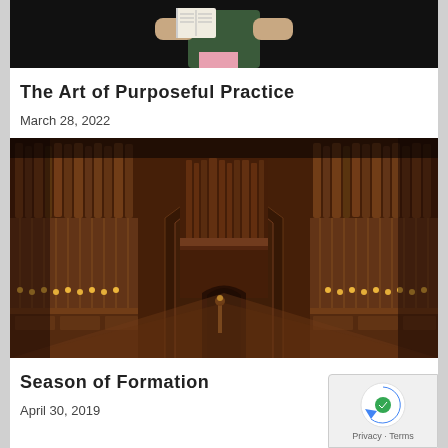[Figure (photo): Partially visible image of a person holding an open book, dark background, cropped at top]
The Art of Purposeful Practice
March 28, 2022
[Figure (photo): Interior of a cathedral choir stall with Gothic wooden carvings, organ pipes, archway in center, warm candlelight, ornate medieval architecture]
Season of Formation
April 30, 2019